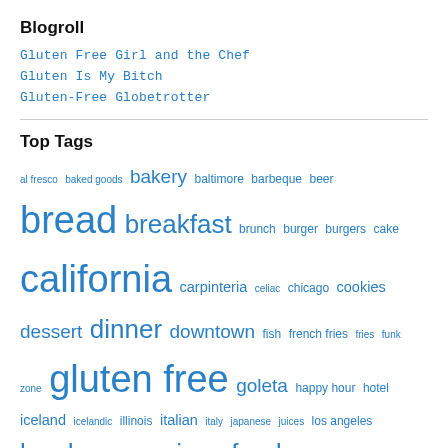Blogroll
Gluten Free Girl and the Chef
Gluten Is My Bitch
Gluten-Free Globetrotter
Top Tags
al fresco baked goods bakery baltimore barbeque beer bread breakfast brunch burger burgers cake california carpinteria celiac chicago cookies dessert dinner downtown fish french fries fries funk zone gluten free goleta happy hour hotel iceland icelandic illinois italian italy japanese juices los angeles lunch menu mexican food montecito muffins nachos new jersey New Orleans new york city ojai onion rings oregon pancakes park city paseo nuevo